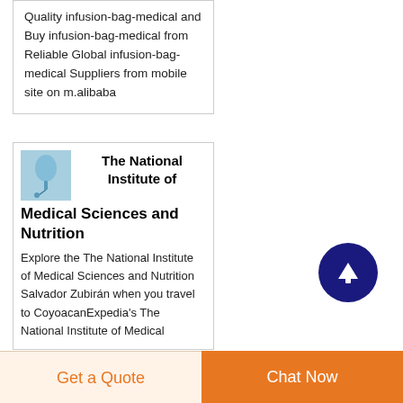Quality infusion-bag-medical and Buy infusion-bag-medical from Reliable Global infusion-bag-medical Suppliers from mobile site on m.alibaba
[Figure (photo): Small thumbnail image of medical infusion bag equipment on blue background]
The National Institute of Medical Sciences and Nutrition
Explore the The National Institute of Medical Sciences and Nutrition Salvador Zubirán when you travel to CoyoacanExpedia's The National Institute of Medical
[Figure (other): Dark navy blue circular scroll-to-top button with white upward arrow]
Get a Quote
Chat Now